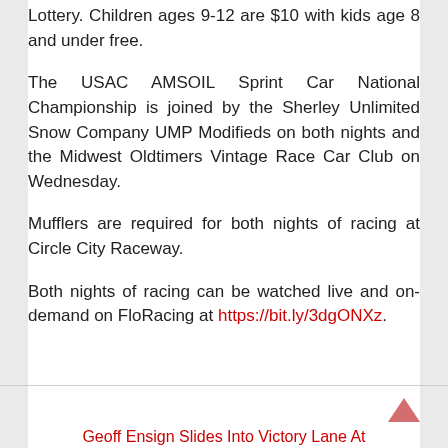Lottery. Children ages 9-12 are $10 with kids age 8 and under free.
The USAC AMSOIL Sprint Car National Championship is joined by the Sherley Unlimited Snow Company UMP Modifieds on both nights and the Midwest Oldtimers Vintage Race Car Club on Wednesday.
Mufflers are required for both nights of racing at Circle City Raceway.
Both nights of racing can be watched live and on-demand on FloRacing at https://bit.ly/3dgONXz.
Geoff Ensign Slides Into Victory Lane At